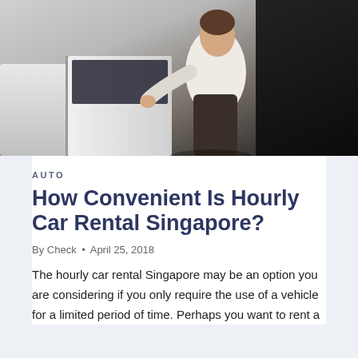[Figure (photo): A person in a white shirt and dark trousers getting into or out of a white car, photographed from behind/side against a dark background.]
AUTO
How Convenient Is Hourly Car Rental Singapore?
By Check • April 25, 2018
The hourly car rental Singapore may be an option you are considering if you only require the use of a vehicle for a limited period of time. Perhaps you want to rent a